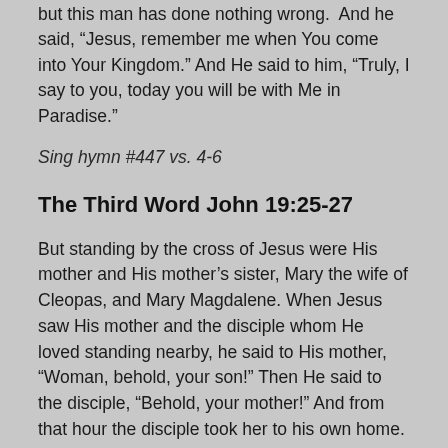but this man has done nothing wrong.  And he said, “Jesus, remember me when You come into Your Kingdom.” And He said to him, “Truly, I say to you, today you will be with Me in Paradise.”
Sing hymn #447 vs. 4-6
The Third Word John 19:25-27
But standing by the cross of Jesus were His mother and His mother’s sister, Mary the wife of Cleopas, and Mary Magdalene. When Jesus saw His mother and the disciple whom He loved standing nearby, he said to His mother, “Woman, behold, your son!” Then He said to the disciple, “Behold, your mother!” And from that hour the disciple took her to his own home.